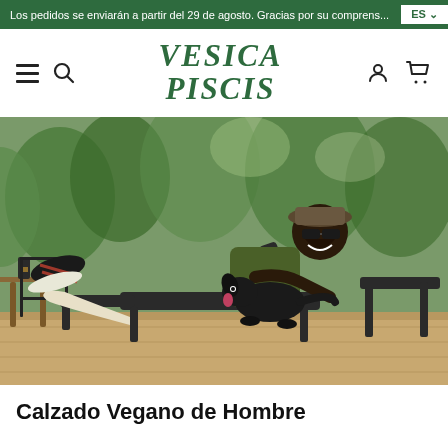Los pedidos se enviarán a partir del 29 de agosto. Gracias por su comprensión. ES
[Figure (logo): Vesica Piscis brand logo in green stylized italic font]
[Figure (photo): A smiling Black man wearing sunglasses and a cap, relaxing on a reclining chair outdoors with his feet up showing sandals/shoes, with a black dog beside him. Trees and outdoor furniture visible in the background.]
Calzado Vegano de Hombre